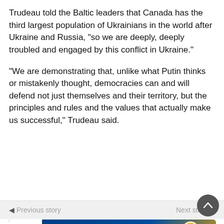Trudeau told the Baltic leaders that Canada has the third largest population of Ukrainians in the world after Ukraine and Russia, “so we are deeply, deeply troubled and engaged by this conflict in Ukraine.”
“We are demonstrating that, unlike what Putin thinks or mistakenly thought, democracies can and will defend not just themselves and their territory, but the principles and rules and the values that actually make us successful,” Trudeau said.
[Figure (other): Read More button with dropdown arrow, and a navigation bar with Previous and Next story links. Below, a scroll-to-top button (dark circle with up arrow) and an advertisement banner for Family Resource Network (McMan) with blue background, italic bold white text, logo, and circular photo thumbnails.]